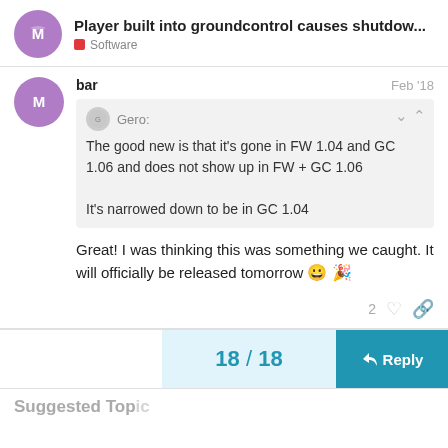Player built into groundcontrol causes shutdow... — Software
bar — Feb '18
Gero: The good new is that it's gone in FW 1.04 and GC 1.06 and does not show up in FW + GC 1.06

It's narrowed down to be in GC 1.04
Great! I was thinking this was something we caught. It will officially be released tomorrow 😀 🎉
2  ♡  🔗
18 / 18
Reply